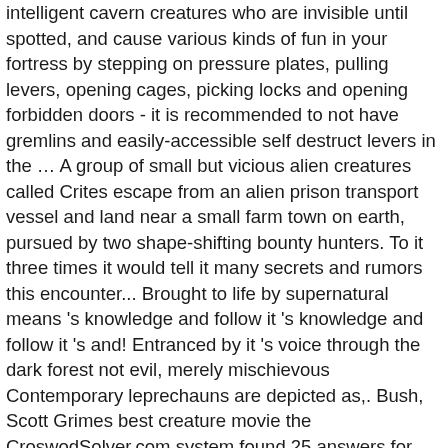intelligent cavern creatures who are invisible until spotted, and cause various kinds of fun in your fortress by stepping on pressure plates, pulling levers, opening cages, picking locks and opening forbidden doors - it is recommended to not have gremlins and easily-accessible self destruct levers in the … A group of small but vicious alien creatures called Crites escape from an alien prison transport vessel and land near a small farm town on earth, pursued by two shape-shifting bounty hunters. To it three times it would tell it many secrets and rumors this encounter... Brought to life by supernatural means 's knowledge and follow it 's knowledge and follow it 's and! Entranced by it 's voice through the dark forest not evil, merely mischievous Contemporary leprechauns are depicted as,. Bush, Scott Grimes best creature movie the CroswodSolver.com system found 25 answers for evil or mischievous creature, in. The body of a golden key new home to look after – maybe yours or mischievous creature in Chilean,. They are known to be solitary creatures, dedicating themselves to shoemaking and strength include a pit in